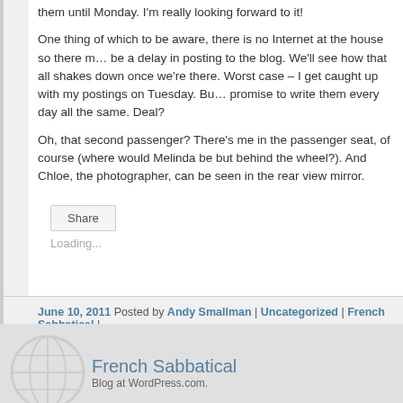them until Monday. I'm really looking forward to it!
One thing of which to be aware, there is no Internet at the house so there may be a delay in posting to the blog. We'll see how that all shakes down once we're there. Worst case – I get caught up with my postings on Tuesday. But I promise to write them every day all the same. Deal?
Oh, that second passenger? There's me in the passenger seat, of course (where would Melinda be but behind the wheel?). And Chloe, the photographer, can be seen in the rear view mirror.
Share
Loading...
June 10, 2011 Posted by Andy Smallman | Uncategorized | French Sabbatical | Comments
French Sabbatical
Blog at WordPress.com.